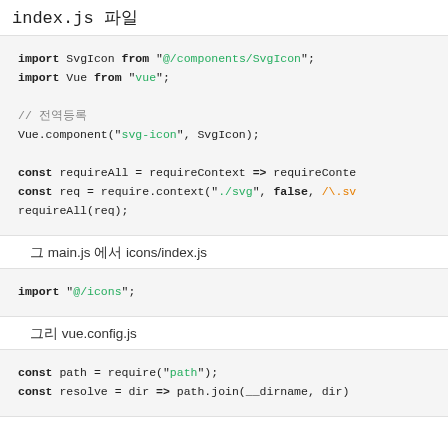index.js 파일
import SvgIcon from "@/components/SvgIcon";
import Vue from "vue";

// 전역등록
Vue.component("svg-icon", SvgIcon);

const requireAll = requireContext => requireConte
const req = require.context("./svg", false, /\.sv
requireAll(req);
그 main.js 에서 icons/index.js
import "@/icons";
그리 vue.config.js
const path = require("path");
const resolve = dir => path.join(__dirname, dir)